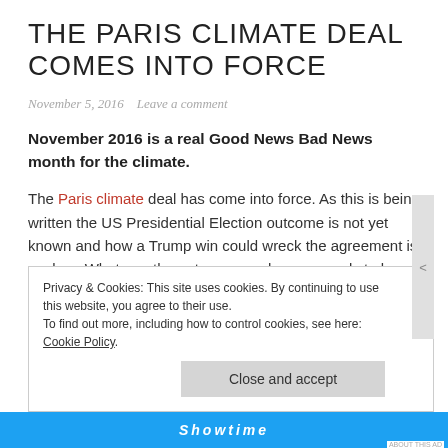THE PARIS CLIMATE DEAL COMES INTO FORCE
November 5, 2016  Leave a comment
November 2016 is a real Good News Bad News month for the climate.
The Paris climate deal has come into force. As this is being written the US Presidential Election outcome is not yet known and how a Trump win could wreck the agreement is unclear. Whatever the outcome much more needs to be done. The UN Emissions Gap Report indicates that – even
Privacy & Cookies: This site uses cookies. By continuing to use this website, you agree to their use.
To find out more, including how to control cookies, see here: Cookie Policy
Close and accept